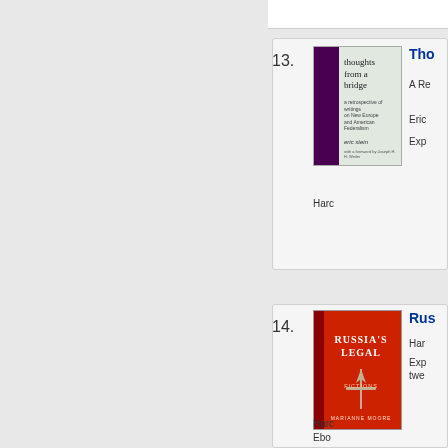13. Thoughts from a Bridge — A Retrospective of Writings on New Europe and American Federalism. Eric Stein. Expanded. Hardcover.
[Figure (photo): Book cover of 'Thoughts from a Bridge' by Eric Stein, pale green cover with purple spine stripe]
14. Russia's Legal Fictions. Hardcover. Expanded over twenty... Hardcover. Ebook.
[Figure (photo): Book cover of 'Russia's Legal Fictions' — red cover with sword/arrow image and white text]